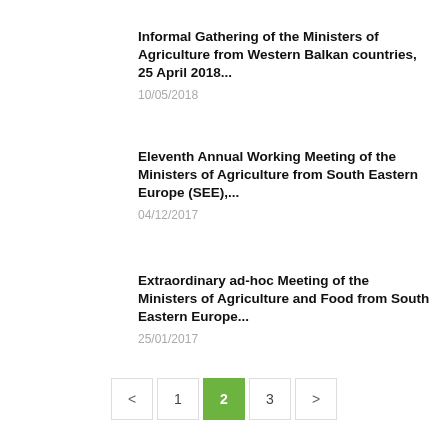Informal Gathering of the Ministers of Agriculture from Western Balkan countries, 25 April 2018...
10/05/2018
Eleventh Annual Working Meeting of the Ministers of Agriculture from South Eastern Europe (SEE),...
04/12/2017
Extraordinary ad-hoc Meeting of the Ministers of Agriculture and Food from South Eastern Europe...
25/01/2017
< 1 2 3 >